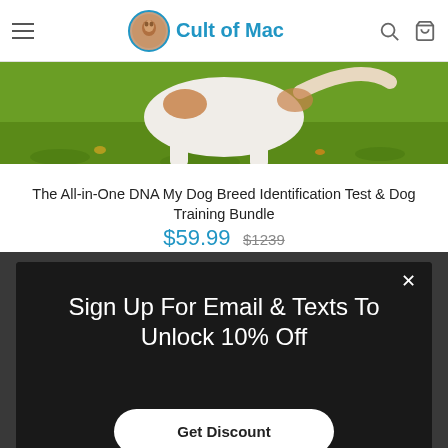Cult of Mac
[Figure (photo): Dog (white and brown) lying on grass with autumn leaves, partial view showing body from below]
The All-in-One DNA My Dog Breed Identification Test & Dog Training Bundle
$59.99  $1239
Sign Up For Email & Texts To Unlock 10% Off
Get Discount
ADD TO CART ($34.99)